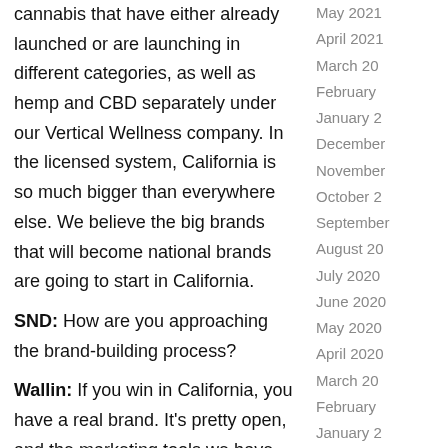cannabis that have either already launched or are launching in different categories, as well as hemp and CBD separately under our Vertical Wellness company. In the licensed system, California is so much bigger than everywhere else. We believe the big brands that will become national brands are going to start in California.
SND: How are you approaching the brand-building process?
Wallin: If you win in California, you have a real brand. It's pretty open, and the marketing tools we have are similar to those in the alcohol world. We have celebrity brands and events, and we can do live tastings (or their equivalent) at events. We have billboards in L.A. We have
May 2021
April 2021
March 20
February
January 2
December
November
October 2
September
August 20
July 2020
June 2020
May 2020
April 2020
March 20
February
January 2
December
November
October 2
September
August 20